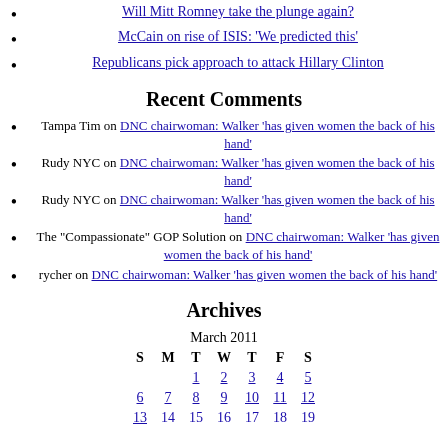Will Mitt Romney take the plunge again?
McCain on rise of ISIS: 'We predicted this'
Republicans pick approach to attack Hillary Clinton
Recent Comments
Tampa Tim on DNC chairwoman: Walker 'has given women the back of his hand'
Rudy NYC on DNC chairwoman: Walker 'has given women the back of his hand'
Rudy NYC on DNC chairwoman: Walker 'has given women the back of his hand'
The "Compassionate" GOP Solution on DNC chairwoman: Walker 'has given women the back of his hand'
rycher on DNC chairwoman: Walker 'has given women the back of his hand'
Archives
| S | M | T | W | T | F | S |
| --- | --- | --- | --- | --- | --- | --- |
|  |  | 1 | 2 | 3 | 4 | 5 |
| 6 | 7 | 8 | 9 | 10 | 11 | 12 |
| 13 | 14 | 15 | 16 | 17 | 18 | 19 |